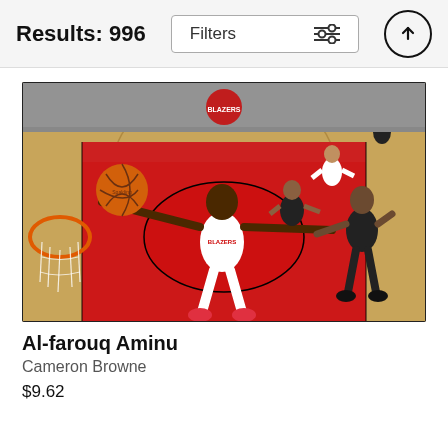Results: 996
Filters
[Figure (photo): Basketball action photo showing an NBA player in Portland Trail Blazers white uniform (BLAZERS) dunking or laying up the ball. The player is airborne with arms extended holding an orange basketball, over a red court painted area with the Blazers logo. Opposing players in black Brooklyn Nets uniforms are visible. The photo is taken from an elevated court-level angle.]
Al-farouq Aminu
Cameron Browne
$9.62